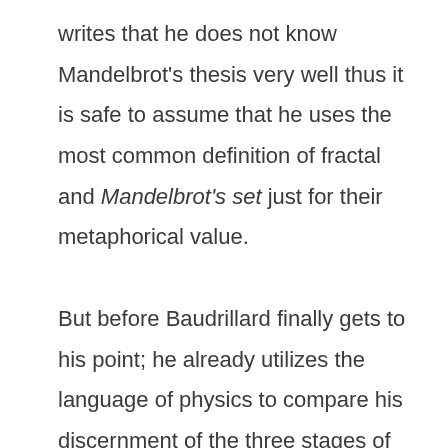writes that he does not know Mandelbrot's thesis very well thus it is safe to assume that he uses the most common definition of fractal and Mandelbrot's set just for their metaphorical value.

But before Baudrillard finally gets to his point; he already utilizes the language of physics to compare his discernment of the three stages of value to the distinction of different particles in